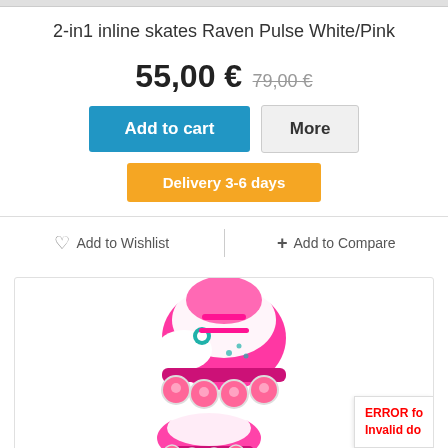2-in1 inline skates Raven Pulse White/Pink
55,00 € 79,00 €
Add to cart | More
Delivery 3-6 days
♡ Add to Wishlist   + Add to Compare
[Figure (photo): Pink and white Raven Pulse 2-in-1 inline skates displayed with a second pair of skates visible below. Skates feature pink and white color scheme with teal accents and pink wheels.]
ERROR fo... Invalid do...